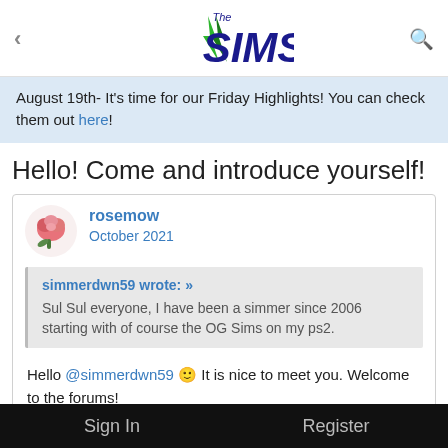The Sims (logo)
August 19th- It's time for our Friday Highlights! You can check them out here!
Hello! Come and introduce yourself!
rosemow
October 2021
simmerdwn59 wrote: »
Sul Sul everyone, I have been a simmer since 2006 starting with of course the OG Sims on my ps2.
Hello @simmerdwn59 🙂 It is nice to meet you. Welcome to the forums!
It is great that you have been simming since 2006, and started
Sign In    Register